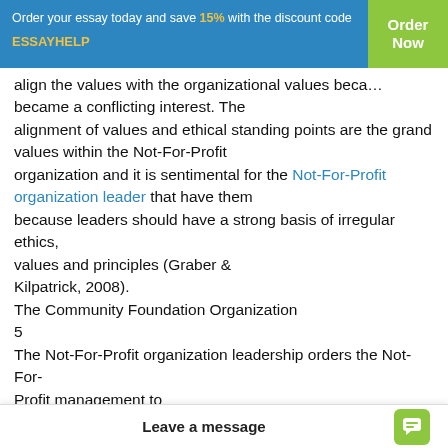Order your essay today and save 15% with the discount code ESSAYHELP | Order Now
align the values with the organizational values because became a conflicting interest. The alignment of values and ethical standing points are the grand values within the Not-For-Profit organization and it is sentimental for the Not-For-Profit organization leader that have them because leaders should have a strong basis of irregular ethics, values and principles (Graber & Kilpatrick, 2008).
The Community Foundation Organization 5
The Not-For-Profit organization leadership orders the Not-For-Profit management to manage care and services at the required levels both efficiently and effectively. Whereby the licensed and certified professionals move to the next level of ethical guidelines that re... to commit any harm so th...